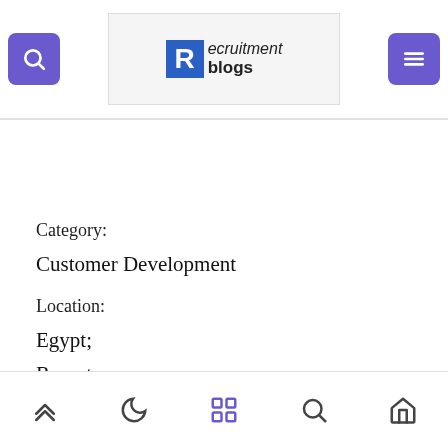Recruitment blogs
Category:
Customer Development
Location:
Egypt;
Remote
Navigation bar with icons: up arrow, moon, grid, search, home